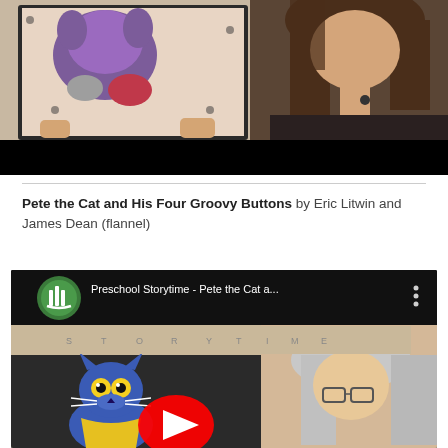[Figure (screenshot): Video thumbnail showing a woman with long brown hair holding up a colorful picture book or flannel board with a purple creature and pink/red shapes on a dotted background. Bottom portion is black (letterbox).]
Pete the Cat and His Four Groovy Buttons by Eric Litwin and James Dean (flannel)
[Figure (screenshot): YouTube video embed showing 'Preschool Storytime - Pete the Cat a...' with a green circular library logo. The video shows a flannel board with a blue Pete the Cat character with yellow eyes and a yellow shirt, pennant banner spelling STORYTIME in background, and a woman with glasses. YouTube play button overlay visible.]